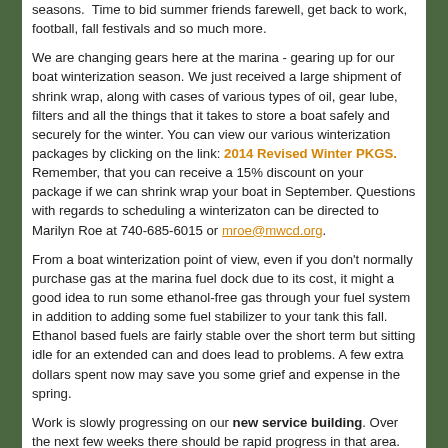seasons. Time to bid summer friends farewell, get back to work, football, fall festivals and so much more.
We are changing gears here at the marina - gearing up for our boat winterization season. We just received a large shipment of shrink wrap, along with cases of various types of oil, gear lube, filters and all the things that it takes to store a boat safely and securely for the winter. You can view our various winterization packages by clicking on the link: 2014 Revised Winter PKGS. Remember, that you can receive a 15% discount on your package if we can shrink wrap your boat in September. Questions with regards to scheduling a winterizaton can be directed to Marilyn Roe at 740-685-6015 or mroe@mwcd.org.
From a boat winterization point of view, even if you don't normally purchase gas at the marina fuel dock due to its cost, it might a good idea to run some ethanol-free gas through your fuel system in addition to adding some fuel stabilizer to your tank this fall. Ethanol based fuels are fairly stable over the short term but sitting idle for an extended can and does lead to problems. A few extra dollars spent now may save you some grief and expense in the spring.
Work is slowly progressing on our new service building. Over the next few weeks there should be rapid progress in that area.
With September comes a change in our Bait, Gas Dock, and